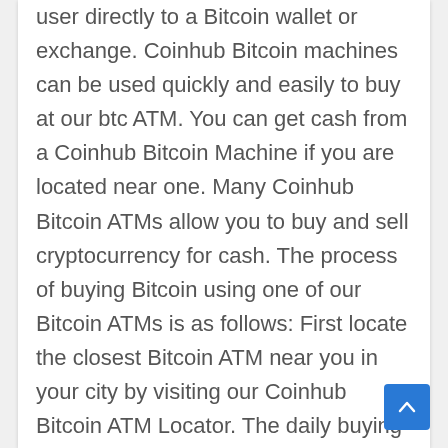user directly to a Bitcoin wallet or exchange. Coinhub Bitcoin machines can be used quickly and easily to buy at our btc ATM. You can get cash from a Coinhub Bitcoin Machine if you are located near one. Many Coinhub Bitcoin ATMs allow you to buy and sell cryptocurrency for cash. The process of buying Bitcoin using one of our Bitcoin ATMs is as follows: First locate the closest Bitcoin ATM near you in your city by visiting our Coinhub Bitcoin ATM Locator. The daily buying limit is $25,000 per person. If you wish to buy more money, please contact us. Coinhub Bitcoin ATMs let you buy bitcoin with cash and get it immediately after purchase at our Bitcoin ATM. Coinhub is the easiest way to buy Bitcoin online or locally. We have Bitcoin Machines in all major cities across the country! Bitcoin is sent instantly to your wallet upon purchase. All you need is a phone, cash, and ID for purchases greater than $2,000. You can finish a transaction in less than
[Figure (other): Blue back-to-top button with upward chevron arrow, positioned bottom-right]